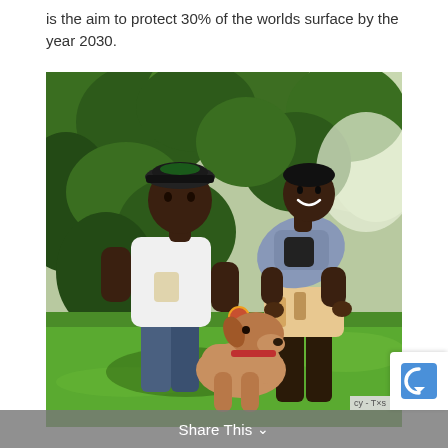is the aim to protect 30% of the worlds surface by the year 2030.
[Figure (photo): Outdoor photo of two people and a dog on a green lawn with trees in the background. One person wears a white t-shirt and baseball cap, the other wears a denim jacket and is bent forward toward the dog.]
Share This ∨